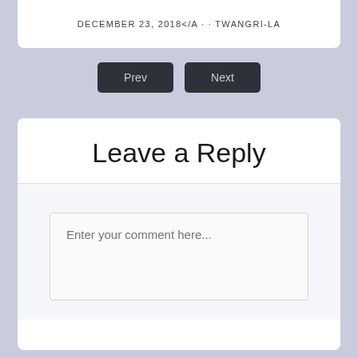DECEMBER 23, 2018</A · · TWANGRI-LA
Prev
Next
Leave a Reply
Enter your comment here...